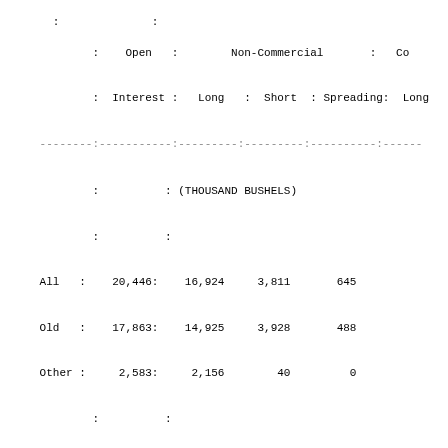|  | Open Interest | Non-Commercial Long | Non-Commercial Short | Non-Commercial Spreading | Commercial Long |
| --- | --- | --- | --- | --- | --- |
|  | (THOUSAND BUSHELS) |  |  |  |  |
| All | 20,446 | 16,924 | 3,811 | 645 |  |
| Old | 17,863 | 14,925 | 3,928 | 488 |  |
| Other | 2,583 | 2,156 | 40 | 0 |  |
|  |  | Changes in Commitments from: S |  |  |  |
|  | -30 | 297 | 264 | 212 |  |
|  |  | Percent of Open Interest Represented |  |  |  |
| All | 100.0 | 82.8 | 18.6 | 3.2 |  |
| Old | 100.0 | 83.6 | 22.0 | 2.7 |  |
| Other | 100.0 | 83.5 | 1.5 | 0.0 |  |
|  | # Traders | Number of Traders in Each |  |  |  |
| All | 33 | 12 | 11 | 4 |  |
| Old | 33 | 12 | 11 | 4 |  |
| Other | 21 | 8 | 4 | 0 |  |
|  |  | Percent of Open Interest Held by the |  |  |  |
|  |  | By Gross Position |  |  |  |
|  |  | 4 or Less Traders Long: | Short | 8 or Less Tra Long | Sh |
| All |  | 65.6 | 15.5 | 80.4 |  |
| Old |  | 65.7 | 15.7 | 80.9 |  |
| Other |  | 67.6 | 21.0 | 82.5 |  |